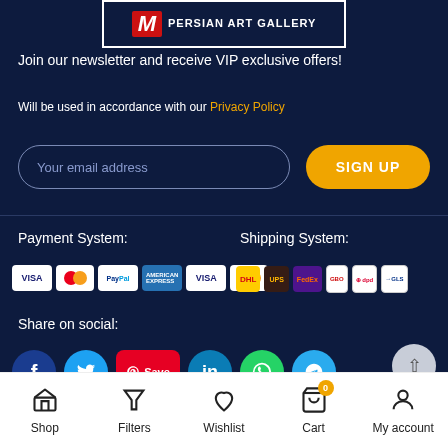[Figure (logo): Persian Art Gallery logo with red stylized M letter and white text on dark background]
Join our newsletter and receive VIP exclusive offers!
Will be used in accordance with our Privacy Policy
Your email address
SIGN UP
Payment System:
Shipping System:
[Figure (infographic): Payment method icons: VISA, Mastercard, PayPal, American Express, VISA, Mastercard]
[Figure (infographic): Shipping provider icons: DHL, UPS, FedEx, GBO, DPD, GLS]
Share on social:
[Figure (infographic): Social media share icons: Facebook, Twitter, Pinterest Save, LinkedIn, WhatsApp, Telegram]
Shop | Filters | Wishlist | Cart 0 | My account